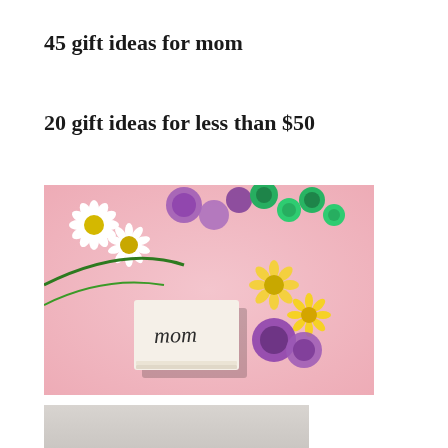45 gift ideas for mom
20 gift ideas for less than $50
[Figure (photo): A pink background with a small white notecard that reads 'mom' in handwritten script, surrounded by colorful flowers including white daisies, purple chrysanthemums, green button flowers, and yellow daisies.]
[Figure (photo): Partial view of another photo, showing a light gray/white background, cropped at the bottom of the page.]